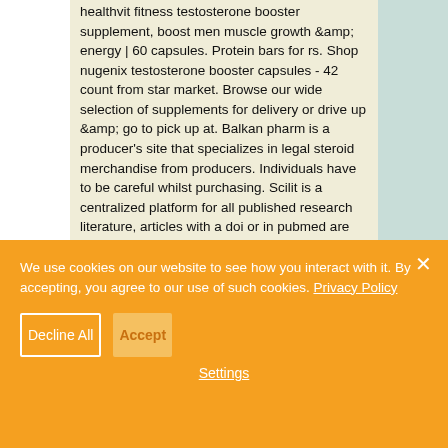healthvit fitness testosterone booster supplement, boost men muscle growth &amp; energy | 60 capsules. Protein bars for rs. Shop nugenix testosterone booster capsules - 42 count from star market. Browse our wide selection of supplements for delivery or drive up &amp; go to pick up at. Balkan pharm is a producer's site that specializes in legal steroid merchandise from producers. Individuals have to be careful whilst purchasing. Scilit is a centralized platform for all published research literature, articles with a doi or in pubmed are indexed
We use cookies on our website to see how you interact with it. By accepting, you agree to our use of such cookies. Privacy Policy
Decline All
Accept
Settings